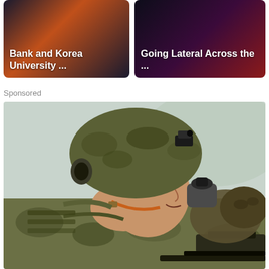[Figure (photo): Thumbnail card showing text 'Bank and Korea University ...' over a dark background with orange/fire tones]
[Figure (photo): Thumbnail card showing text 'Going Lateral Across the ...' over a dark purple/red background]
Sponsored
[Figure (photo): Large photo of a soldier in full combat gear (camouflage helmet with NVG mount, tactical gear) drinking from a water bottle or canteen, holding a rifle. Close-up side profile shot with blurred background.]